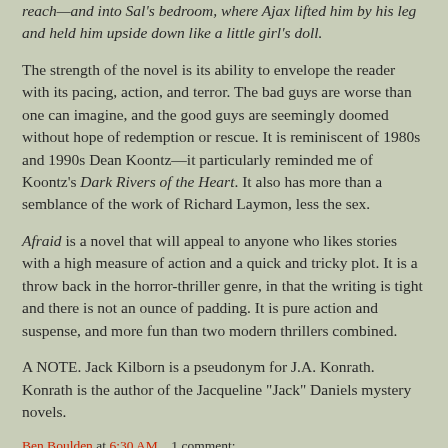reach—and into Sal's bedroom, where Ajax lifted him by his leg and held him upside down like a little girl's doll.
The strength of the novel is its ability to envelope the reader with its pacing, action, and terror. The bad guys are worse than one can imagine, and the good guys are seemingly doomed without hope of redemption or rescue. It is reminiscent of 1980s and 1990s Dean Koontz—it particularly reminded me of Koontz's Dark Rivers of the Heart. It also has more than a semblance of the work of Richard Laymon, less the sex.
Afraid is a novel that will appeal to anyone who likes stories with a high measure of action and a quick and tricky plot. It is a throw back in the horror-thriller genre, in that the writing is tight and there is not an ounce of padding. It is pure action and suspense, and more fun than two modern thrillers combined.
A NOTE. Jack Kilborn is a pseudonym for J.A. Konrath. Konrath is the author of the Jacqueline "Jack" Daniels mystery novels.
Ben Boulden at 6:30 AM    1 comment: